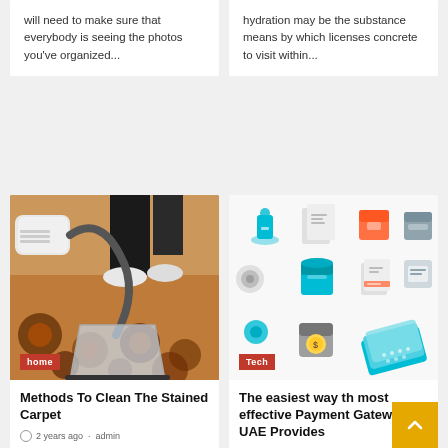will need to make sure that everybody is seeing the photos you've organized...
hydration may be the substance means by which licenses concrete to visit within...
[Figure (photo): Vacuum cleaner being used on a patterned carpet]
home
Methods To Clean The Stained Carpet
2 years ago · admin
[Figure (illustration): Isometric tech icons including database, documents, and various technology symbols on white background]
Tech
The easiest way the most effective Payment Gateway UAE Provides